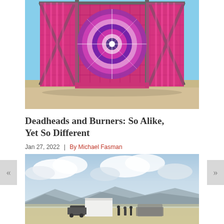[Figure (photo): A colorful tie-dye tapestry with pink, purple, and white mandala patterns hung on a metal frame structure in an outdoor desert/dry lake bed setting with blue sky background. Large X-shaped support poles visible on the sides.]
Deadheads and Burners: So Alike, Yet So Different
Jan 27, 2022  |  By Michael Fasman
[Figure (photo): Outdoor desert scene with dramatic cloudy sky, mountains in the background, and silhouettes of vehicles and people in the foreground. Likely Burning Man festival setting.]